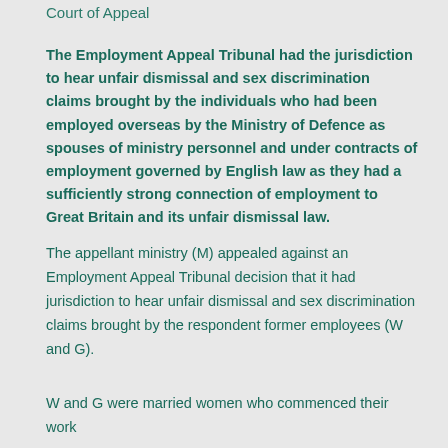Court of Appeal
The Employment Appeal Tribunal had the jurisdiction to hear unfair dismissal and sex discrimination claims brought by the individuals who had been employed overseas by the Ministry of Defence as spouses of ministry personnel and under contracts of employment governed by English law as they had a sufficiently strong connection of employment to Great Britain and its unfair dismissal law.
The appellant ministry (M) appealed against an Employment Appeal Tribunal decision that it had jurisdiction to hear unfair dismissal and sex discrimination claims brought by the respondent former employees (W and G).
W and G were married women who commenced their work